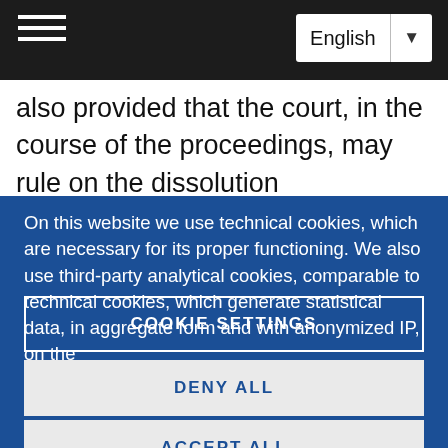English
also provided that the court, in the course of the proceedings, may rule on the dissolution
On this website we use technical cookies, which are necessary for its proper functioning. We also use third-party analytical cookies, comparable to technical cookies, which generate statistical data, in aggregate form and with anonymized IP, on the
COOKIE SETTINGS
DENY ALL
ACCEPT ALL